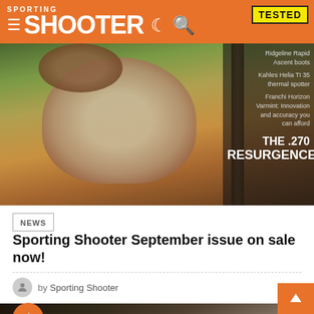SPORTING SHOOTER
[Figure (photo): Magazine cover of Sporting Shooter featuring a brown cow/bull in a field with trees. Right sidebar lists: TESTED, Ridgeline Rapid Ascent boots, Kahles Helia TI 35 thermal spotter, Franchi Horizon Varmint: Innovation and accuracy you can afford, THE .270 RESURGENCE]
NEWS
Sporting Shooter September issue on sale now!
by Sporting Shooter
[Figure (photo): Close-up photo of a rifle showing the stock, action and scope, with a lightning bolt icon overlay and scroll-to-top button]